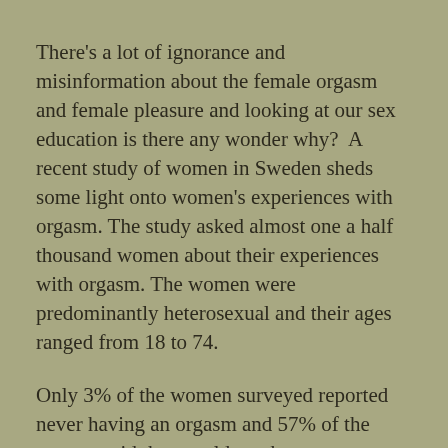There's a lot of ignorance and misinformation about the female orgasm and female pleasure and looking at our sex education is there any wonder why?  A recent study of women in Sweden sheds some light onto women's experiences with orgasm. The study asked almost one a half thousand women about their experiences with orgasm. The women were predominantly heterosexual and their ages ranged from 18 to 74.
Only 3% of the women surveyed reported never having an orgasm and 57% of the women said they could reach orgasm through penile intercourse alone.  69% of women said that their preferred masturbation technique was clitoral stimulation.  21% of women said they found it hard to reach orgasm a lot of the time. 31% of women surveyed said that having a penis inside their vagina made no difference to the quality of their orgasm. The average age that women first had sex was